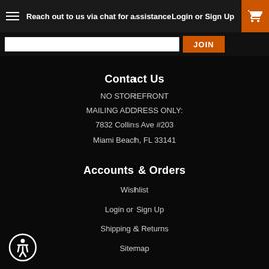Reach out to us via chat for assistance | Login or Sign Up
Contact Us
NO STOREFRONT
MAILING ADDRESS ONLY:
7832 Collins Ave #203
Miami Beach, FL 33141
Accounts & Orders
Wishlist
Login or Sign Up
Shipping & Returns
Sitemap
Quick Links
Contact Us
Blog